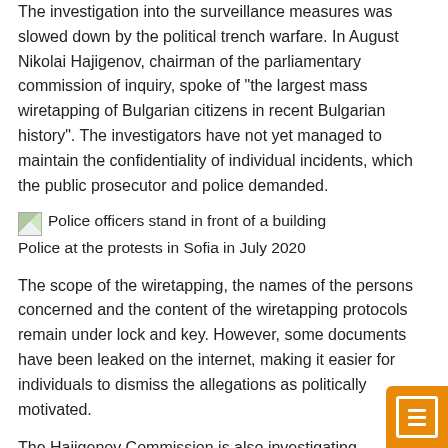The investigation into the surveillance measures was slowed down by the political trench warfare. In August Nikolai Hajigenov, chairman of the parliamentary commission of inquiry, spoke of "the largest mass wiretapping of Bulgarian citizens in recent Bulgarian history". The investigators have not yet managed to maintain the confidentiality of individual incidents, which the public prosecutor and police demanded.
[Figure (photo): Police officers stand in front of a building (image broken/not loaded)]
Police at the protests in Sofia in July 2020
The scope of the wiretapping, the names of the persons concerned and the content of the wiretapping protocols remain under lock and key. However, some documents have been leaked on the internet, making it easier for individuals to dismiss the allegations as politically motivated.
The Hajigenov Commission is also investigating allegations of police violence at two demonstrations in July and September 2020. A recently released 18-minute surveillance video shows police dragging a protester into a pillared area of the Council of Ministers building